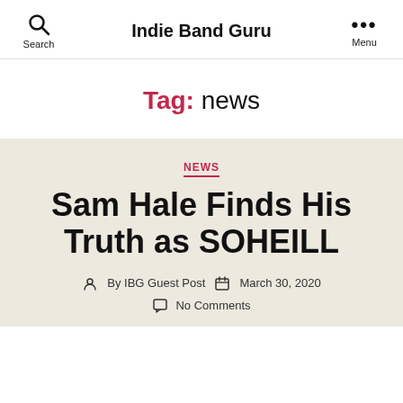Indie Band Guru
Tag: news
NEWS
Sam Hale Finds His Truth as SOHEILL
By IBG Guest Post  March 30, 2020
No Comments